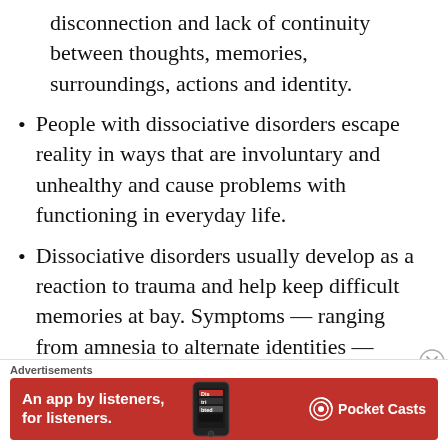disconnection and lack of continuity between thoughts, memories, surroundings, actions and identity.
People with dissociative disorders escape reality in ways that are involuntary and unhealthy and cause problems with functioning in everyday life.
Dissociative disorders usually develop as a reaction to trauma and help keep difficult memories at bay. Symptoms — ranging from amnesia to alternate identities — depend in part on the type of dissociative disorder you have.
Times of stress can temporarily worsen…
Advertisements
[Figure (infographic): Red advertisement banner for Pocket Casts app: 'An app by listeners, for listeners.' with phone graphic and Pocket Casts logo on red background.]